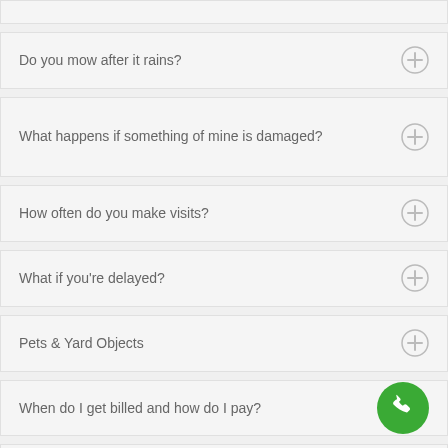Do you mow after it rains?
What happens if something of mine is damaged?
How often do you make visits?
What if you're delayed?
Pets & Yard Objects
When do I get billed and how do I pay?